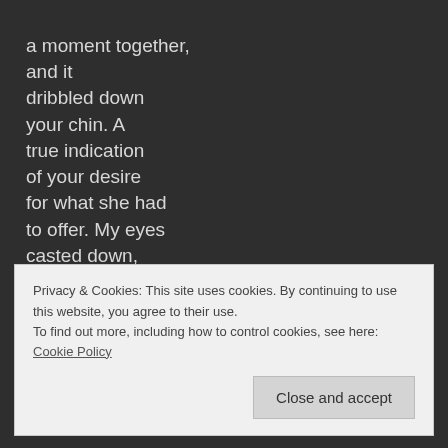a moment together, and it dribbled down your chin. A true indication of your desire for what she had to offer. My eyes casted down, was something else entirely.
Privacy & Cookies: This site uses cookies. By continuing to use this website, you agree to their use.
To find out more, including how to control cookies, see here: Cookie Policy
Close and accept